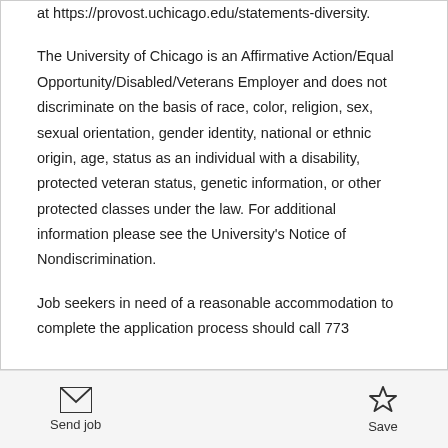at https://provost.uchicago.edu/statements-diversity.
The University of Chicago is an Affirmative Action/Equal Opportunity/Disabled/Veterans Employer and does not discriminate on the basis of race, color, religion, sex, sexual orientation, gender identity, national or ethnic origin, age, status as an individual with a disability, protected veteran status, genetic information, or other protected classes under the law. For additional information please see the University's Notice of Nondiscrimination.
Job seekers in need of a reasonable accommodation to complete the application process should call 773...
Send job   Save